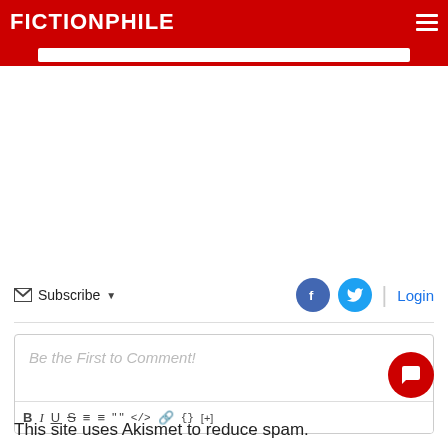FICTIONPHILE
[Figure (screenshot): Red search bar area below navigation header]
[Figure (screenshot): Subscribe dropdown with envelope icon, Facebook and Twitter social buttons, and Login link]
[Figure (screenshot): Comment text area with placeholder text 'Be the First to Comment!' and formatting toolbar with B, I, U, S, ordered list, unordered list, blockquote, code, link, {}, [+] buttons]
[Figure (screenshot): Red circular chat bubble button at bottom right]
This site uses Akismet to reduce spam.